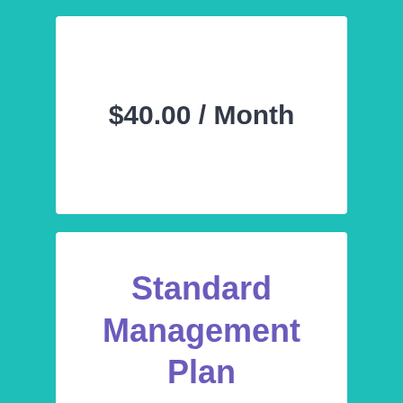$40.00 / Month
Standard Management Plan